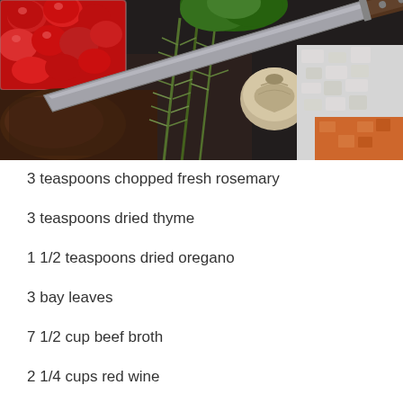[Figure (photo): Top-down view of fresh cooking ingredients including cherry tomatoes in a container, fresh rosemary sprigs, parsley, garlic, chopped onions, diced carrots, and a large chef's knife on a dark surface.]
3 teaspoons chopped fresh rosemary
3 teaspoons dried thyme
1 1/2 teaspoons dried oregano
3 bay leaves
7 1/2 cup beef broth
2 1/4 cups red wine